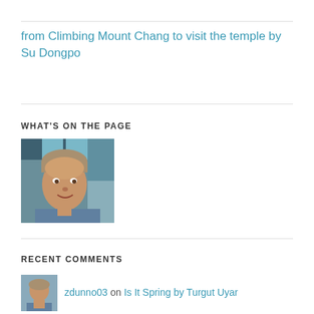from Climbing Mount Chang to visit the temple by Su Dongpo
WHAT'S ON THE PAGE
[Figure (photo): Portrait photo of a middle-aged man with gray hair, smiling, wearing a blue shirt, indoors near a window]
RECENT COMMENTS
zdunno03 on Is It Spring by Turgut Uyar
[Figure (photo): Small portrait photo of a person]